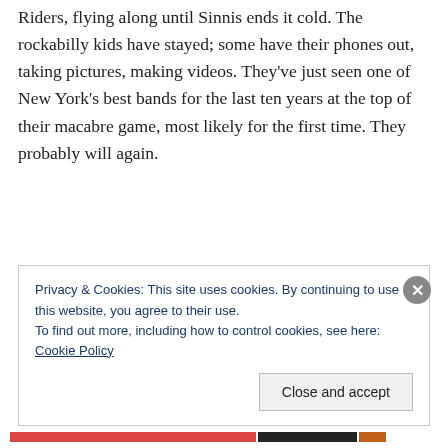Riders, flying along until Sinnis ends it cold. The rockabilly kids have stayed; some have their phones out, taking pictures, making videos. They've just seen one of New York's best bands for the last ten years at the top of their macabre game, most likely for the first time. They probably will again.
Privacy & Cookies: This site uses cookies. By continuing to use this website, you agree to their use. To find out more, including how to control cookies, see here: Cookie Policy